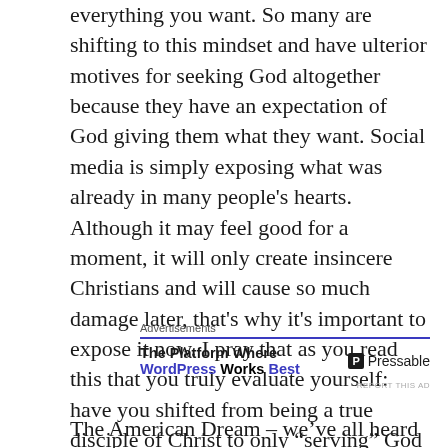everything you want. So many are shifting to this mindset and have ulterior motives for seeking God altogether because they have an expectation of God giving them what they want. Social media is simply exposing what was already in many people's hearts. Although it may feel good for a moment, it will only create insincere Christians and will cause so much damage later, that's why it's important to expose it now. I pray that as you read this that you truly evaluate yourself: have you shifted from being a true disciple of Christ to only “serving” God so that He can help you obtain your version of the American Dream?
[Figure (other): Advertisement block for Pressable: 'The Platform Where WordPress Works Best' with Pressable logo]
The American Dream – we’ve all heard of it – the big